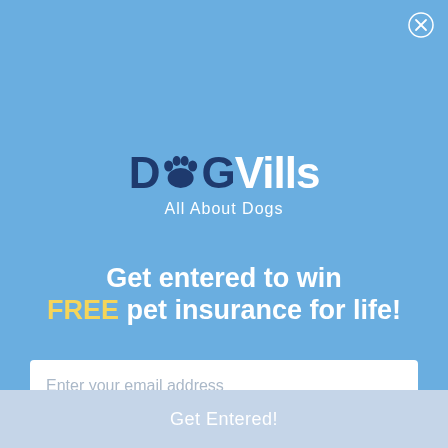[Figure (logo): DogVills logo with paw print replacing the 'o', tagline: All About Dogs]
Get entered to win FREE pet insurance for life!
Enter your email address
Get Entered!